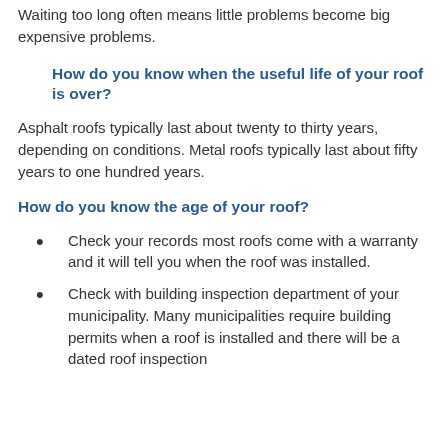Waiting too long often means little problems become big expensive problems.
How do you know when the useful life of your roof is over?
Asphalt roofs typically last about twenty to thirty years, depending on conditions. Metal roofs typically last about fifty years to one hundred years.
How do you know the age of your roof?
Check your records most roofs come with a warranty and it will tell you when the roof was installed.
Check with building inspection department of your municipality. Many municipalities require building permits when a roof is installed and there will be a dated roof inspection